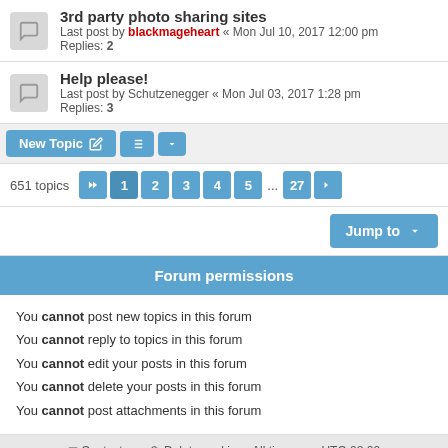3rd party photo sharing sites
Last post by blackmageheart « Mon Jul 10, 2017 12:00 pm
Replies: 2
Help please!
Last post by Schutzenegger « Mon Jul 03, 2017 1:28 pm
Replies: 3
New Topic | Sort | 651 topics | pagination: 1 2 3 4 5 ... 27 | Jump to
Forum permissions
You cannot post new topics in this forum
You cannot reply to topics in this forum
You cannot edit your posts in this forum
You cannot delete your posts in this forum
You cannot post attachments in this forum
Contact us | Delete cookies | All times are UTC-08:00
Powered by phpBB® Forum Software © phpBB Limited
Style proflat by © Mazeltof 2017
Privacy | Terms